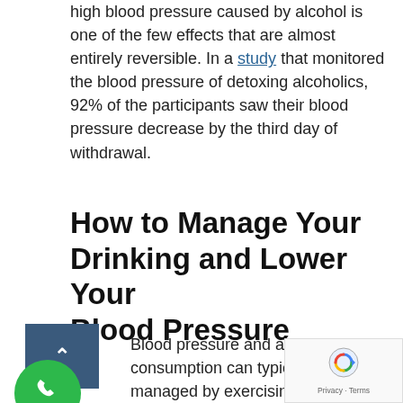high blood pressure caused by alcohol is one of the few effects that are almost entirely reversible. In a study that monitored the blood pressure of detoxing alcoholics, 92% of the participants saw their blood pressure decrease by the third day of withdrawal.
How to Manage Your Drinking and Lower Your Blood Pressure
Blood pressure and alcohol consumption can typically be managed by exercising moderation though this can be much easier said than do those with a physical alcohol dependency, cutting down on drinking could trigger a number of other unpleasant side effects. Still, knowing